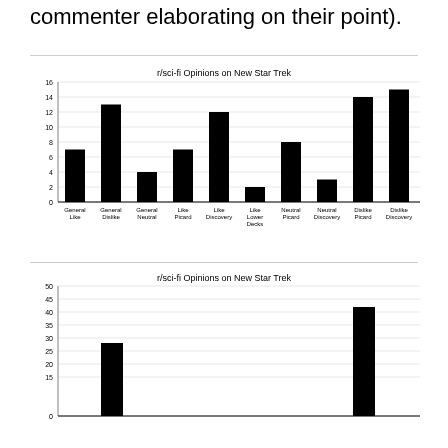commenter elaborating on their point).
[Figure (bar-chart): r/sci-fi Opinions on New Star Trek]
[Figure (bar-chart): r/sci-fi Opinions on New Star Trek]